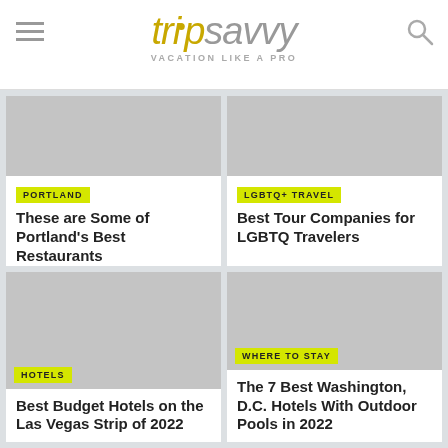tripsavvy VACATION LIKE A PRO
[Figure (screenshot): Card with gray placeholder image, PORTLAND category tag, article title: These are Some of Portland's Best Restaurants]
[Figure (screenshot): Card with gray placeholder image, LGBTQ+ TRAVEL category tag, article title: Best Tour Companies for LGBTQ Travelers]
[Figure (screenshot): Card with gray placeholder image, HOTELS category tag, article title: Best Budget Hotels on the Las Vegas Strip of 2022]
[Figure (screenshot): Card with gray placeholder image, WHERE TO STAY category tag, article title: The 7 Best Washington, D.C. Hotels With Outdoor Pools in 2022]